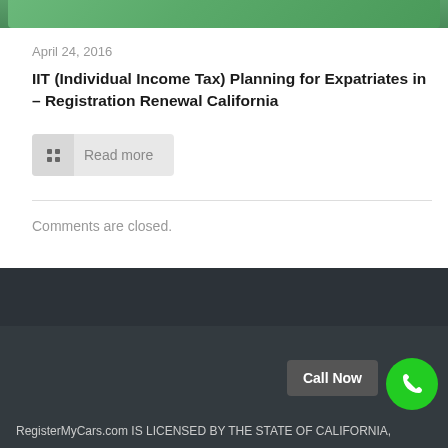[Figure (illustration): Partial green decorative image strip at top of page]
April 24, 2016
IIT (Individual Income Tax) Planning for Expatriates in – Registration Renewal California
Read more
Comments are closed.
RegisterMyCars.com IS LICENSED BY THE STATE OF CALIFORNIA,